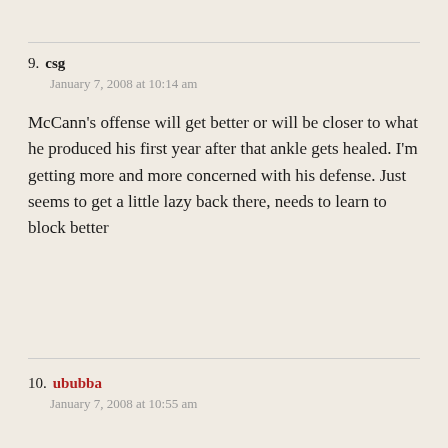9. csg
January 7, 2008 at 10:14 am

McCann's offense will get better or will be closer to what he produced his first year after that ankle gets healed. I'm getting more and more concerned with his defense. Just seems to get a little lazy back there, needs to learn to block better
10. ububba
January 7, 2008 at 10:55 am